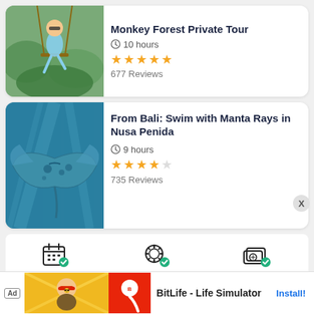[Figure (photo): Woman on a swing in a green forest setting]
Monkey Forest Private Tour
10 hours
[Figure (other): 5 yellow stars rating]
677 Reviews
[Figure (photo): Manta ray underwater photo]
From Bali: Swim with Manta Rays in Nusa Penida
9 hours
[Figure (other): 4 yellow stars and 1 empty star rating]
735 Reviews
Free cancellation
Stay safe during COVID-19
Best price guarantee
Ad  BitLife - Life Simulator  Install!